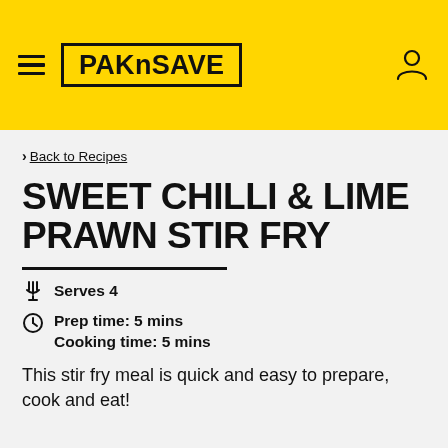PAKnSAVE
> Back to Recipes
SWEET CHILLI & LIME PRAWN STIR FRY
Serves 4
Prep time: 5 mins
Cooking time: 5 mins
This stir fry meal is quick and easy to prepare, cook and eat!